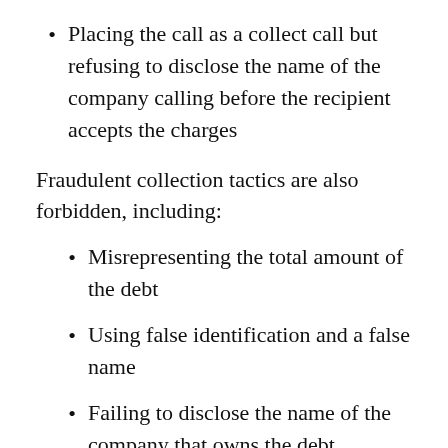Placing the call as a collect call but refusing to disclose the name of the company calling before the recipient accepts the charges
Fraudulent collection tactics are also forbidden, including:
Misrepresenting the total amount of the debt
Using false identification and a false name
Failing to disclose the name of the company that owns the debt